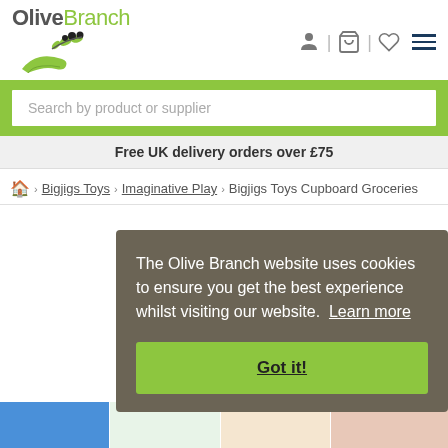OliveBranch
Search by product or supplier
Free UK delivery orders over £75
Home > Bigjigs Toys > Imaginative Play > Bigjigs Toys Cupboard Groceries
The Olive Branch website uses cookies to ensure you get the best experience whilst visiting our website. Learn more
Got it!